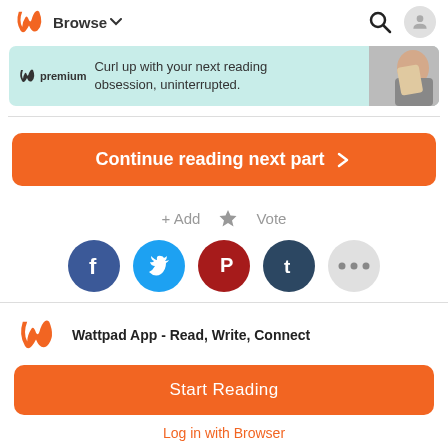Browse
[Figure (screenshot): Wattpad premium advertisement banner: 'Curl up with your next reading obsession, uninterrupted.' with a photo of a woman reading]
Continue reading next part >
+ Add  ★ Vote
[Figure (infographic): Social sharing buttons: Facebook, Twitter, Pinterest, Tumblr, More (...)]
Wattpad App - Read, Write, Connect
Start Reading
Log in with Browser